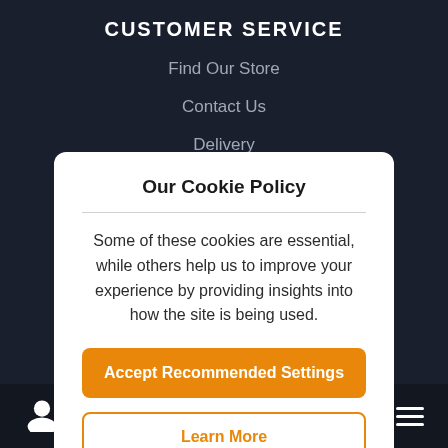CUSTOMER SERVICE
Find Our Store
Contact Us
Delivery
Our Cookie Policy
Some of these cookies are essential, while others help us to improve your experience by providing insights into how the site is being used.
Accept Recommended Settings
Learn More